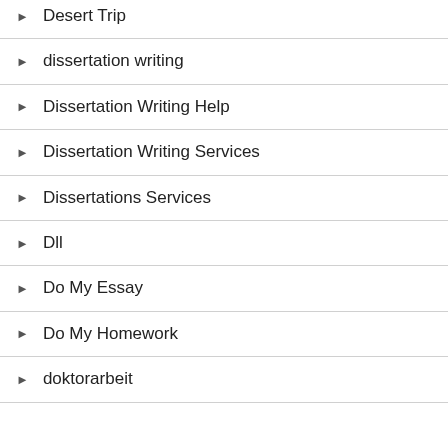Desert Trip
dissertation writing
Dissertation Writing Help
Dissertation Writing Services
Dissertations Services
Dll
Do My Essay
Do My Homework
doktorarbeit